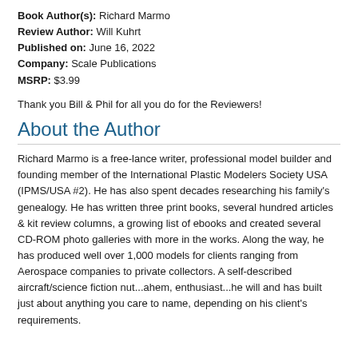Book Author(s): Richard Marmo
Review Author: Will Kuhrt
Published on: June 16, 2022
Company: Scale Publications
MSRP: $3.99
Thank you Bill & Phil for all you do for the Reviewers!
About the Author
Richard Marmo is a free-lance writer, professional model builder and founding member of the International Plastic Modelers Society USA (IPMS/USA #2). He has also spent decades researching his family's genealogy. He has written three print books, several hundred articles & kit review columns, a growing list of ebooks and created several CD-ROM photo galleries with more in the works. Along the way, he has produced well over 1,000 models for clients ranging from Aerospace companies to private collectors. A self-described aircraft/science fiction nut...ahem, enthusiast...he will and has built just about anything you care to name, depending on his client's requirements.